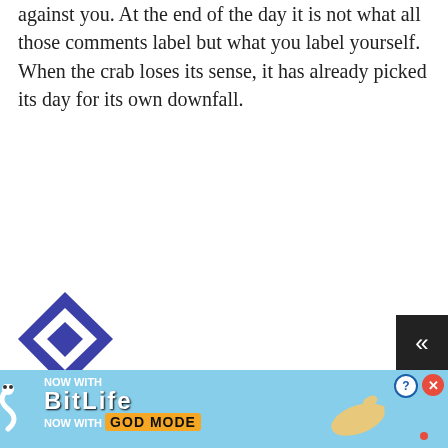against you. At the end of the day it is not what all those comments label but what you label yourself. When the crab loses its sense, it has already picked its day for its own downfall.
[Figure (logo): Blue and white geometric square avatar icon for user Mano Ratwatte]
Mano Ratwatte / October 3, 2016
Thumbs up: 0  Thumbs down: 0
India's Muslim population is approximately 178 million and they consist of 14.9% of the population.
[Figure (screenshot): BitLife advertisement banner: NOW WITH GOD MODE]